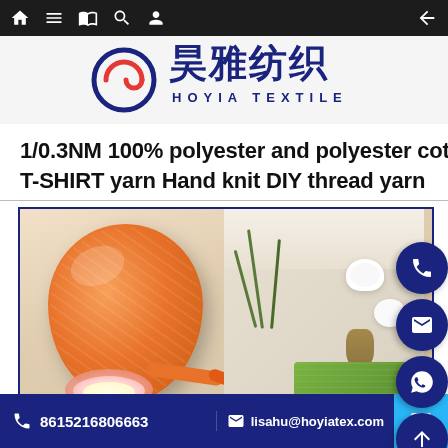Navigation bar with home, menu, book, search, profile icons and back arrow
[Figure (logo): Hoyia Textile logo with Chinese characters 昊雅纺织 and stylized circular emblem in red and blue]
1/0.3NM 100% polyester and polyester cotton 20 T-SHIRT yarn Hand knit DIY thread yarn
[Figure (photo): Product photo showing an orange T-shirt yarn ball/skein on the left, with colorful rolled yarn skeins and cotton bolls with pine cones in the background on the right]
8615216806663 | lisahu@hoyiatex.com